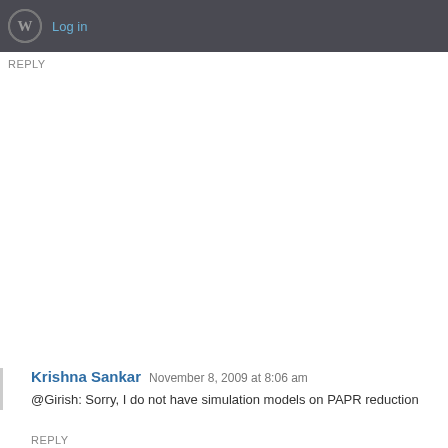Log in
REPLY
Krishna Sankar  November 8, 2009 at 8:06 am
@Girish: Sorry, I do not have simulation models on PAPR reduction
REPLY